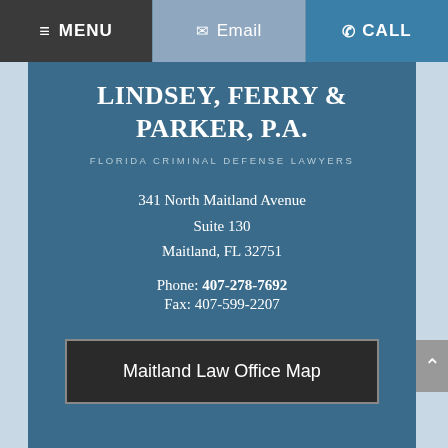≡ MENU   ✉ Email   ✆ CALL
LINDSEY, FERRY & PARKER, P.A.
FLORIDA CRIMINAL DEFENSE LAWYERS
341 North Maitland Avenue
Suite 130
Maitland, FL 32751
Phone: 407-278-7692
Fax: 407-599-2207
Maitland Law Office Map